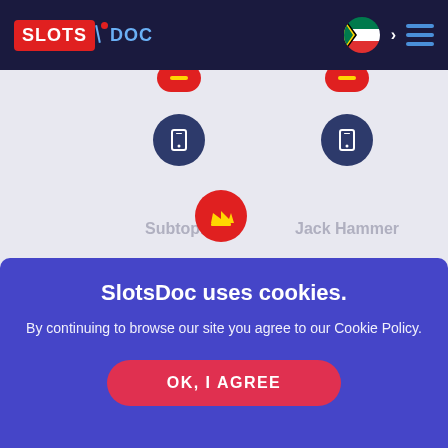[Figure (logo): SlotsDoc logo with red SLOTS badge and blue DOC text]
[Figure (screenshot): SlotsDoc website showing game cards for Subtopia and Jack Hammer with mobile icons and a cookie consent banner]
Subtopia
Jack Hammer
SlotsDoc uses cookies.
By continuing to browse our site you agree to our Cookie Policy.
OK, I AGREE